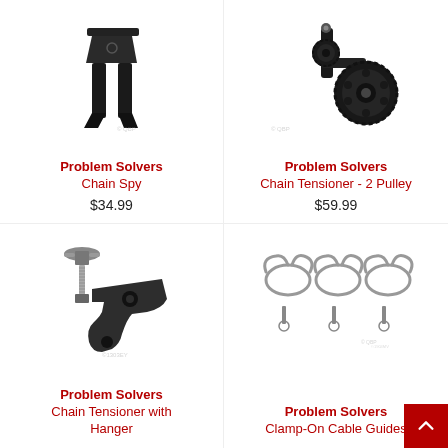[Figure (photo): Problem Solvers Chain Spy product photo - black metal chain guide component with angled teeth, top portion cut off]
Problem Solvers
Chain Spy
$34.99
[Figure (photo): Problem Solvers Chain Tensioner 2 Pulley product photo - black derailleur pulley mechanism with gear wheels]
Problem Solvers
Chain Tensioner - 2 Pulley
$59.99
[Figure (photo): Problem Solvers Chain Tensioner with Hanger product photo - black aluminum dropout hanger with bolt and thumbscrew]
Problem Solvers
Chain Tensioner with Hanger
[Figure (photo): Problem Solvers Clamp-On Cable Guides product photo - three silver spring wire clamps with bolts and nuts]
Problem Solvers
Clamp-On Cable Guides